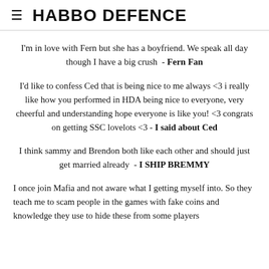HABBO DEFENCE
I'm in love with Fern but she has a boyfriend. We speak all day though I have a big crush  - Fern Fan
I'd like to confess Ced that is being nice to me always <3 i really like how you performed in HDA being nice to everyone, very cheerful and understanding hope everyone is like you! <3 congrats on getting SSC lovelots <3 - I said about Ced
I think sammy and Brendon both like each other and should just get married already  - I SHIP BREMMY
I once join Mafia and not aware what I getting myself into. So they teach me to scam people in the games with fake coins and knowledge they use to hide these from some players